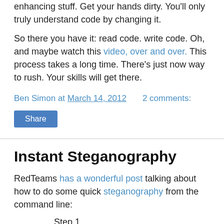enhancing stuff. Get your hands dirty. You'll only truly understand code by changing it.
So there you have it: read code. write code. Oh, and maybe watch this video, over and over. This process takes a long time. There's just now way to rush. Your skills will get there.
Ben Simon at March 14, 2012    2 comments:
Share
Instant Steganography
RedTeams has a wonderful post talking about how to do some quick steganography from the command line:
Step 1
Create a file with the data you want. You can use Jason's trick to create an encrypted file.
Step 2